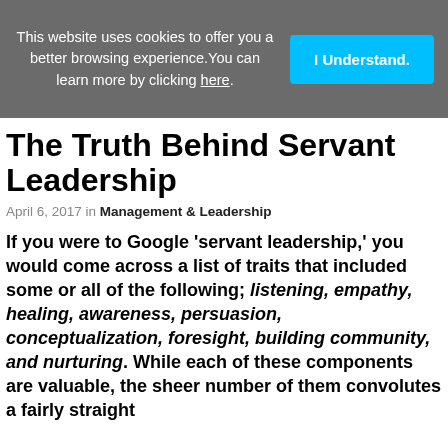This website uses cookies to offer you a better browsing experience. You can learn more by clicking here.
The Truth Behind Servant Leadership
April 6, 2017 in Management & Leadership
If you were to Google 'servant leadership,' you would come across a list of traits that included some or all of the following; listening, empathy, healing, awareness, persuasion, conceptualization, foresight, building community, and nurturing. While each of these components are valuable, the sheer number of them convolutes a fairly straight